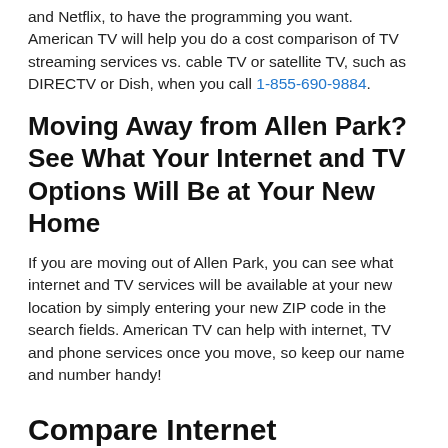and Netflix, to have the programming you want. American TV will help you do a cost comparison of TV streaming services vs. cable TV or satellite TV, such as DIRECTV or Dish, when you call 1-855-690-9884.
Moving Away from Allen Park? See What Your Internet and TV Options Will Be at Your New Home
If you are moving out of Allen Park, you can see what internet and TV services will be available at your new location by simply entering your new ZIP code in the search fields. American TV can help with internet, TV and phone services once you move, so keep our name and number handy!
Compare Internet